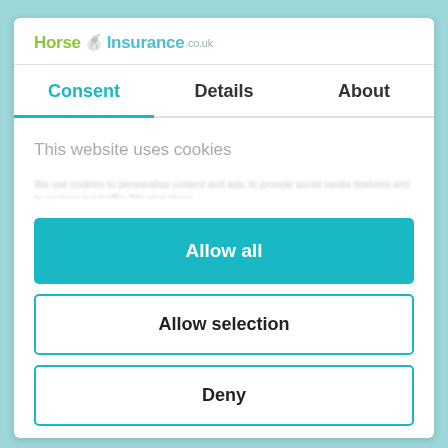[Figure (logo): Horse Insurance .co.uk logo with horse icon]
Consent | Details | About
This website uses cookies
Allow all
Allow selection
Deny
Powered by Cookiebot by Usercentrics